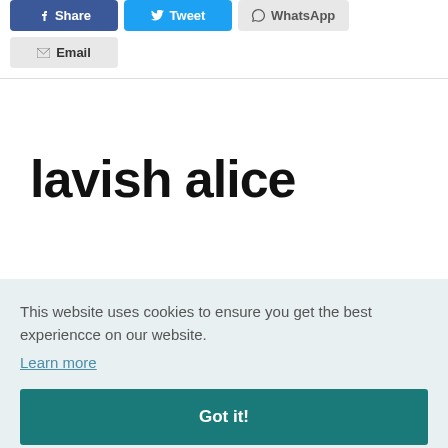[Figure (screenshot): Social share buttons: Share (Facebook, blue), Tweet (Twitter, blue), WhatsApp (gray), Email (gray)]
lavish alice
This website uses cookies to ensure you get the best experiencce on our website.
Learn more
Got it!